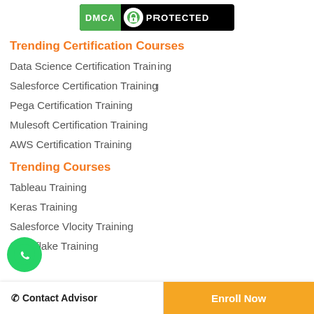[Figure (logo): DMCA Protected badge — green and black shield logo with text]
Trending Certification Courses
Data Science Certification Training
Salesforce Certification Training
Pega Certification Training
Mulesoft Certification Training
AWS Certification Training
Trending Courses
Tableau Training
Keras Training
Salesforce Vlocity Training
Snowflake Training
Contact Advisor | Enroll Now